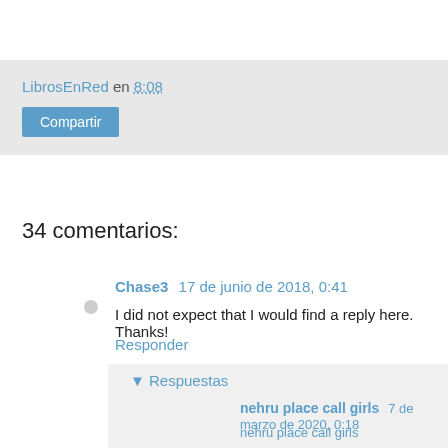LibrosEnRed en 8:08
Compartir
34 comentarios:
Chase3 17 de junio de 2018, 0:41
I did not expect that I would find a reply here. Thanks!
Responder
▼ Respuestas
nehru place call girls 7 de marzo de 2020, 0:18
nehru place call girls
nehru place russian call girls
andheri escorts
aerocity call girls